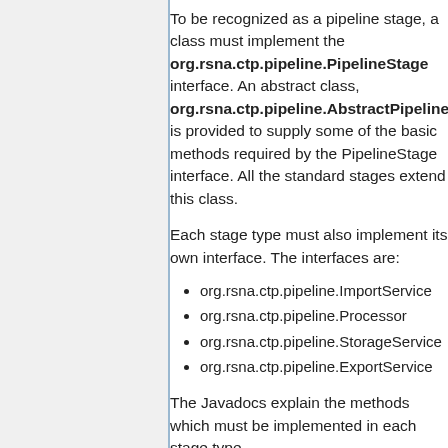To be recognized as a pipeline stage, a class must implement the org.rsna.ctp.pipeline.PipelineStage interface. An abstract class, org.rsna.ctp.pipeline.AbstractPipelineStage is provided to supply some of the basic methods required by the PipelineStage interface. All the standard stages extend this class.
Each stage type must also implement its own interface. The interfaces are:
org.rsna.ctp.pipeline.ImportService
org.rsna.ctp.pipeline.Processor
org.rsna.ctp.pipeline.StorageService
org.rsna.ctp.pipeline.ExportService
The Javadocs explain the methods which must be implemented in each stage type.